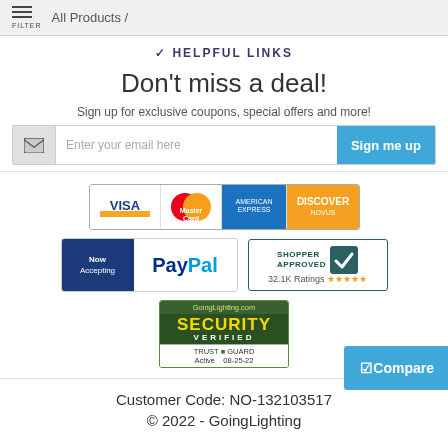FILTER / All Products /
✓ HELPFUL LINKS
Don't miss a deal!
Sign up for exclusive coupons, special offers and more!
[Figure (infographic): Email signup form with envelope icon, email input placeholder 'Enter your email here', and blue 'Sign me up' button]
[Figure (infographic): Payment badge row showing VISA, MasterCard, American Express, Discover credit card logos]
[Figure (infographic): Now Accepting PayPal badge and Shopper Approved badge showing 32.1K Ratings with 5 stars]
[Figure (infographic): GoingLighting.com Security Verified Trust Guard badge, Active 08-25-22]
Compare
Customer Code: NO-132103517
© 2022 - GoingLighting